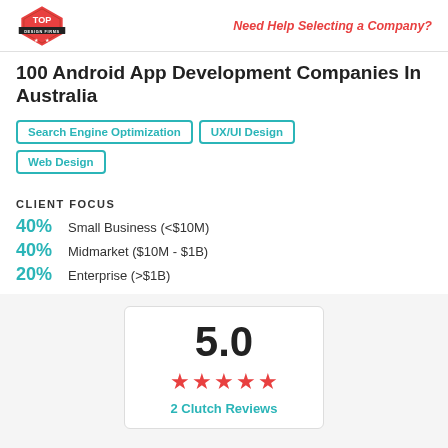Top Design Firms logo | Need Help Selecting a Company?
100 Android App Development Companies In Australia
Search Engine Optimization
UX/UI Design
Web Design
CLIENT FOCUS
40% Small Business (<$10M)
40% Midmarket ($10M - $1B)
20% Enterprise (>$1B)
[Figure (infographic): Rating card showing 5.0 score with 5 red stars and '2 Clutch Reviews' label]